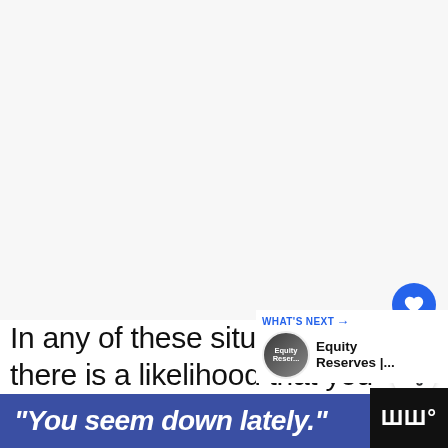[Figure (photo): Large white/light gray blank image area at the top of the page]
In any of these situations, there is a likelihood that you will see the Visa Provisioning Service charge show up on yo...
[Figure (infographic): What's Next overlay with circular avatar thumbnail labeled 'Equity Reserves |...' and a blue like button showing 46 likes and a share button]
"You seem down lately."